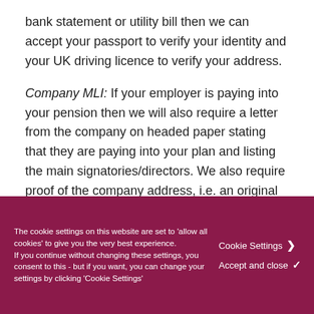bank statement or utility bill then we can accept your passport to verify your identity and your UK driving licence to verify your address.
Company MLI: If your employer is paying into your pension then we will also require a letter from the company on headed paper stating that they are paying into your plan and listing the main signatories/directors. We also require proof of the company address, i.e. an original or certified copy of a utility bill or bank statement dated within the last 3
The cookie settings on this website are set to 'allow all cookies' to give you the very best experience.
If you continue without changing these settings, you consent to this - but if you want, you can change your settings by clicking 'Cookie Settings'
Cookie Settings ❯
Accept and close ✓